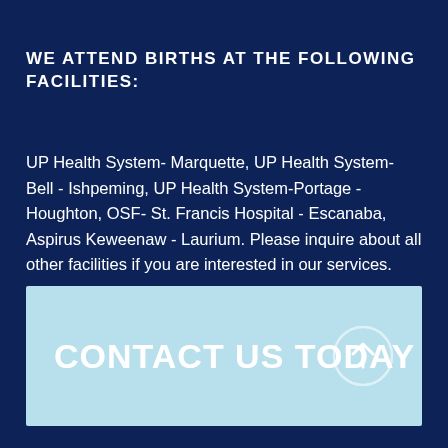WE ATTEND BIRTHS AT THE FOLLOWING FACILITIES:
UP Health System- Marquette, UP Health System- Bell - Ishpeming, UP Health System-Portage - Houghton, OSF- St. Francis Hospital - Escanaba, Aspirus Keweenaw - Laurium. Please inquire about all other facilities if you are interested in our services.
CONTACT US TODAY